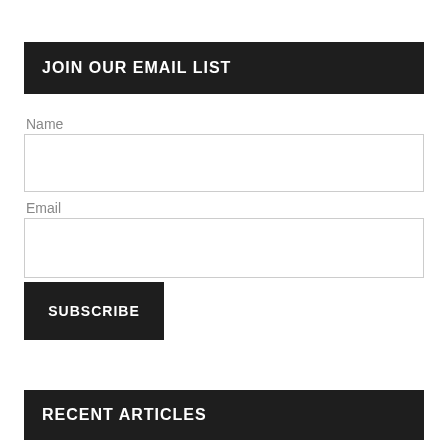JOIN OUR EMAIL LIST
Name
Email
SUBSCRIBE
RECENT ARTICLES